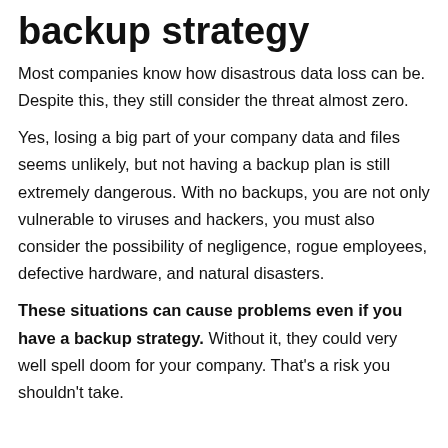backup strategy
Most companies know how disastrous data loss can be. Despite this, they still consider the threat almost zero.
Yes, losing a big part of your company data and files seems unlikely, but not having a backup plan is still extremely dangerous. With no backups, you are not only vulnerable to viruses and hackers, you must also consider the possibility of negligence, rogue employees, defective hardware, and natural disasters.
These situations can cause problems even if you have a backup strategy. Without it, they could very well spell doom for your company. That’s a risk you shouldn’t take.